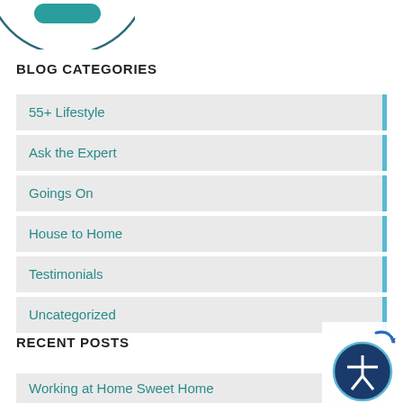[Figure (logo): Partial circular logo with teal accent, cropped at top of page]
BLOG CATEGORIES
55+ Lifestyle
Ask the Expert
Goings On
House to Home
Testimonials
Uncategorized
RECENT POSTS
Working at Home Sweet Home